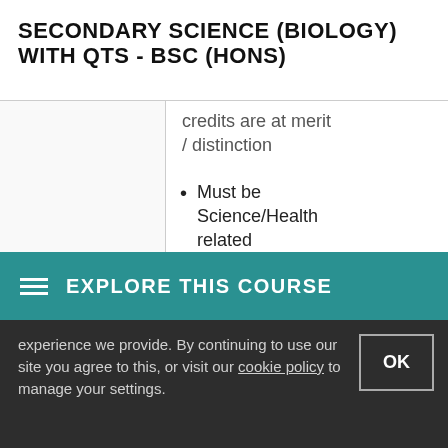SECONDARY SCIENCE (BIOLOGY) WITH QTS - BSC (HONS)
credits are at merit / distinction
Must be Science/Health related
If applying with an Access course you only need GCSE
EXPLORE THIS COURSE
experience we provide. By continuing to use our site you agree to this, or visit our cookie policy to manage your settings.